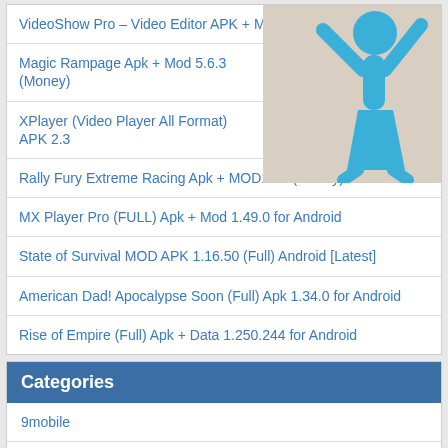VideoShow Pro – Video Editor APK + MOD Android
[Figure (illustration): Blue stick figure illustration of a person with arms raised, on a beige/tan background]
Magic Rampage Apk + Mod 5.6.3 (Money)
XPlayer (Video Player All Format) APK 2.3
Rally Fury Extreme Racing Apk + MOD1.96 (Money) Android
MX Player Pro (FULL) Apk + Mod 1.49.0 for Android
State of Survival MOD APK 1.16.50 (Full) Android [Latest]
American Dad! Apocalypse Soon (Full) Apk 1.34.0 for Android
Rise of Empire (Full) Apk + Data 1.250.244 for Android
Categories
9mobile
9mobile Free Browsing Cheat
Action
Adventure